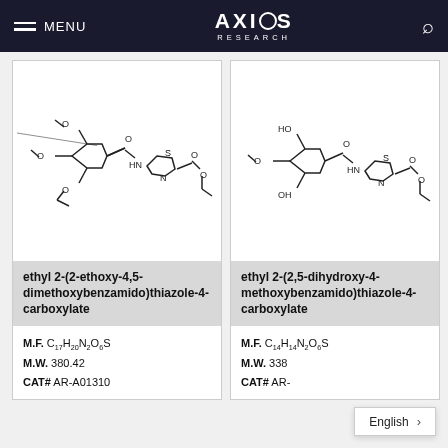MENU | AXIOS RESEARCH | [search]
[Figure (schematic): Chemical structure of ethyl 2-(2-ethoxy-4,5-dimethoxybenzamido)thiazole-4-carboxylate]
ethyl 2-(2-ethoxy-4,5-dimethoxybenzamido)thiazole-4-carboxylate
M.F. C17H20N2O6S
M.W. 380.42
CAT# AR-A01310
[Figure (schematic): Chemical structure of ethyl 2-(2,5-dihydroxy-4-methoxybenzamido)thiazole-4-carboxylate]
ethyl 2-(2,5-dihydroxy-4-methoxybenzamido)thiazole-4-carboxylate
M.F. C14H14N2O6S
M.W. 338
CAT# AR-